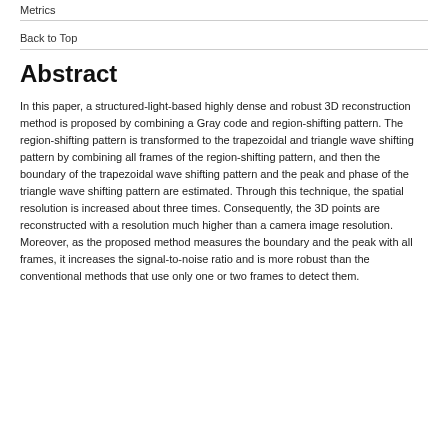Metrics
Back to Top
Abstract
In this paper, a structured-light-based highly dense and robust 3D reconstruction method is proposed by combining a Gray code and region-shifting pattern. The region-shifting pattern is transformed to the trapezoidal and triangle wave shifting pattern by combining all frames of the region-shifting pattern, and then the boundary of the trapezoidal wave shifting pattern and the peak and phase of the triangle wave shifting pattern are estimated. Through this technique, the spatial resolution is increased about three times. Consequently, the 3D points are reconstructed with a resolution much higher than a camera image resolution. Moreover, as the proposed method measures the boundary and the peak with all frames, it increases the signal-to-noise ratio and is more robust than the conventional methods that use only one or two frames to detect them.